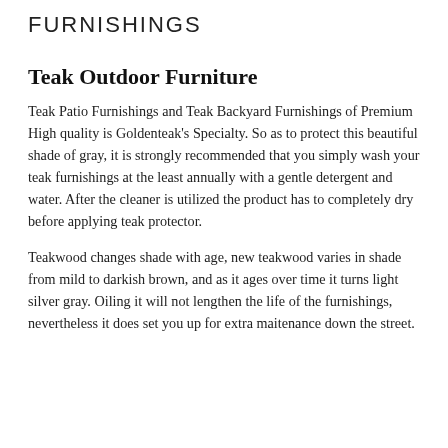FURNISHINGS
Teak Outdoor Furniture
Teak Patio Furnishings and Teak Backyard Furnishings of Premium High quality is Goldenteak's Specialty. So as to protect this beautiful shade of gray, it is strongly recommended that you simply wash your teak furnishings at the least annually with a gentle detergent and water. After the cleaner is utilized the product has to completely dry before applying teak protector.
Teakwood changes shade with age, new teakwood varies in shade from mild to darkish brown, and as it ages over time it turns light silver gray. Oiling it will not lengthen the life of the furnishings, nevertheless it does set you up for extra maitenance down the street.